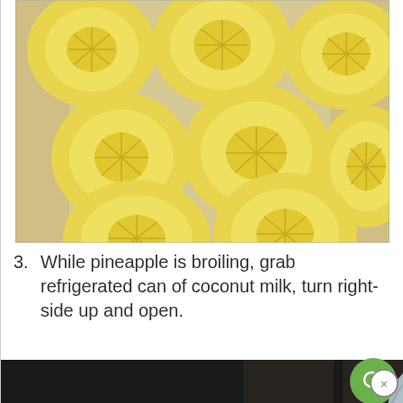[Figure (photo): Top-down view of multiple fresh pineapple slices arranged on a light surface, showing their circular rings and yellow flesh.]
3. While pineapple is broiling, grab refrigerated can of coconut milk, turn right-side up and open.
[Figure (photo): Photo of a can of coconut milk turned right-side up on a granite countertop, with dark kitchen background.]